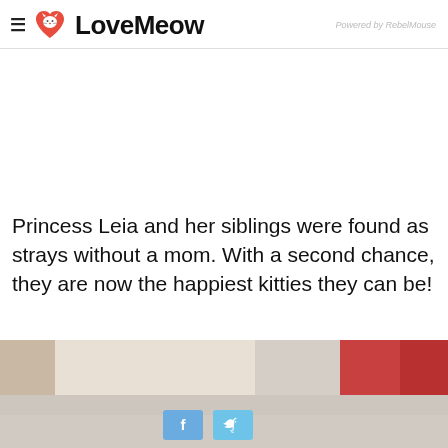LoveMeow — Powered by RebelMouse
Princess Leia and her siblings were found as strays without a mom. With a second chance, they are now the happiest kitties they can be!
[Figure (photo): Photo of kittens with social share buttons (Facebook, Twitter) overlaid at bottom]